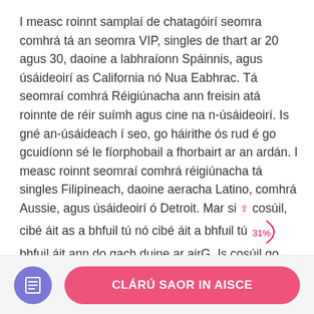I measc roinnt samplaí de chatagóirí seomra comhrá tá an seomra VIP, singles de thart ar 20 agus 30, daoine a labhraíonn Spáinnis, agus úsáideoirí as California nó Nua Eabhrac. Tá seomraí comhrá Réigiúnacha ann freisin atá roinnte de réir suímh agus cine na n-úsáideoirí. Is gné an-úsáideach í seo, go háirithe ós rud é go gcuidíonn sé le fíorphobail a fhorbairt ar an ardán. I measc roinnt seomraí comhrá réigiúnacha tá singles Filipíneach, daoine aeracha Latino, comhrá Aussie, agus úsáideoirí ó Detroit. Mar si [↑] cosúil, cibé áit as a bhfuil tú nó cibé áit a bhfuil tú [↩31%] bhfuil áit ann do gach duine ar airG. Is cosúil go [31%]an méid is lú úsáideoirí ag roinnt seomraí comhrá, ach gan a bheith buartha, is féidir leat dul ar
[Figure (other): Purple circular icon with document/lines symbol]
CLÁRÚ SAOR IN AISCE